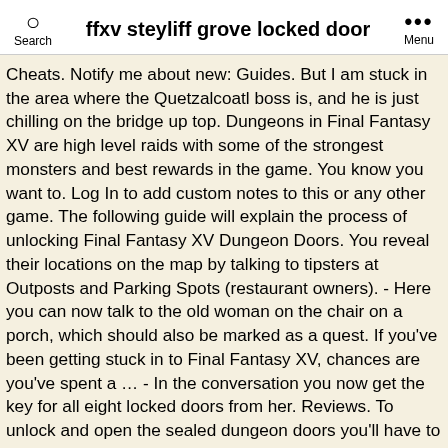Search   ffxv steyliff grove locked door   Menu
Cheats. Notify me about new: Guides. But I am stuck in the area where the Quetzalcoatl boss is, and he is just chilling on the bridge up top. Dungeons in Final Fantasy XV are high level raids with some of the strongest monsters and best rewards in the game. You know you want to. Log In to add custom notes to this or any other game. The following guide will explain the process of unlocking Final Fantasy XV Dungeon Doors. You reveal their locations on the map by talking to tipsters at Outposts and Parking Spots (restaurant owners). - Here you can now talk to the old woman on the chair on a porch, which should also be marked as a quest. If you've been getting stuck in to Final Fantasy XV, chances are you've spent a … - In the conversation you now get the key for all eight locked doors from her. Reviews. To unlock and open the sealed dungeon doors you'll have to complete the game. Steyliff Grove dungeon? User Info: L0rd_Dusty_ L0rd_Dusty_ - 4 years ago. Xbox One.